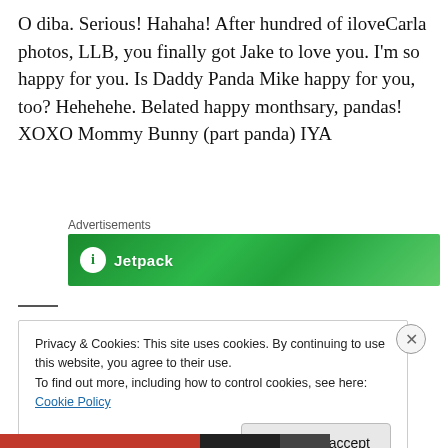O diba. Serious! Hahaha! After hundred of iloveCarla photos, LLB, you finally got Jake to love you. I'm so happy for you. Is Daddy Panda Mike happy for you, too? Hehehehe. Belated happy monthsary, pandas! XOXO Mommy Bunny (part panda) IYA
Advertisements
[Figure (screenshot): Green advertisement banner for Jetpack with white circle icon and white button element on the right side]
Privacy & Cookies: This site uses cookies. By continuing to use this website, you agree to their use.
To find out more, including how to control cookies, see here: Cookie Policy
Close and accept